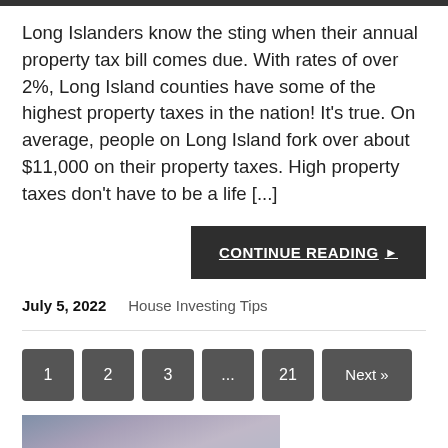Long Islanders know the sting when their annual property tax bill comes due. With rates of over 2%, Long Island counties have some of the highest property taxes in the nation! It's true. On average, people on Long Island fork over about $11,000 on their property taxes. High property taxes don't have to be a life [...]
CONTINUE READING ▶
July 5, 2022    House Investing Tips
1  2  3  ...  21  Next »
[Figure (photo): Partial photo of people at bottom of page, likely a business/real estate related image]